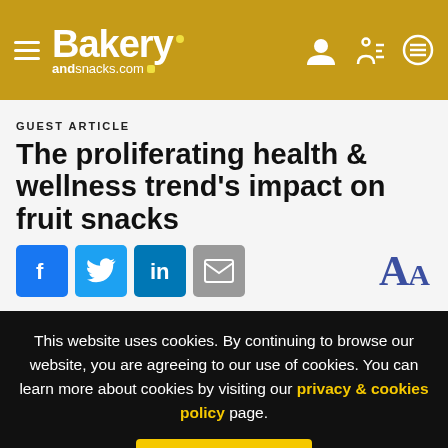Bakery andsnacks.com
GUEST ARTICLE
The proliferating health & wellness trend's impact on fruit snacks
[Figure (infographic): Social share buttons: Facebook, Twitter, LinkedIn, Email; and font size AA control]
This website uses cookies. By continuing to browse our website, you are agreeing to our use of cookies. You can learn more about cookies by visiting our privacy & cookies policy page.
I Agree